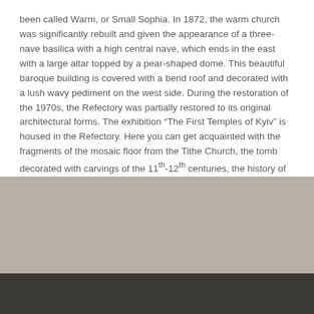been called Warm, or Small Sophia. In 1872, the warm church was significantly rebuilt and given the appearance of a three-nave basilica with a high central nave, which ends in the east with a large altar topped by a pear-shaped dome. This beautiful baroque building is covered with a bend roof and decorated with a lush wavy pediment on the west side. During the restoration of the 1970s, the Refectory was partially restored to its original architectural forms. The exhibition “The First Temples of Kyiv” is housed in the Refectory. Here you can get acquainted with the fragments of the mosaic floor from the Tithe Church, the tomb decorated with carvings of the 11th-12th centuries, the history of the study of architectural monuments of ancient Kyiv, etc.